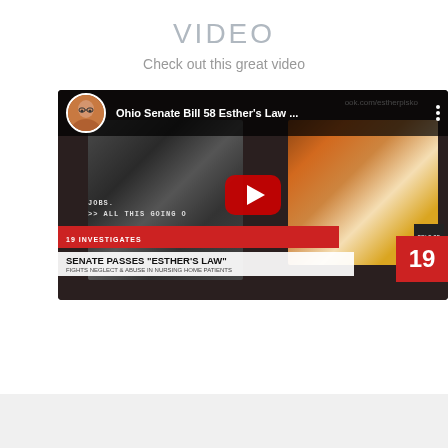VIDEO
Check out this great video
[Figure (screenshot): YouTube video thumbnail showing Ohio Senate Bill 58 Esther's Law news segment. The thumbnail shows two photos: a black-and-white photo of a younger woman on the left, and a color photo of an elderly woman in a red cardigan on the right. A red YouTube play button is in the center. The video title reads 'Ohio Senate Bill 58 Esther's Law ...' A news lower-third bar shows '19 INVESTIGATES' in red, 'SENATE PASSES "ESTHER'S LAW"' in bold black text, and 'FIGHTS NEGLECT & ABUSE IN NURSING HOME PATIENTS' as a subline. Channel 19 logo appears in red on the right.]